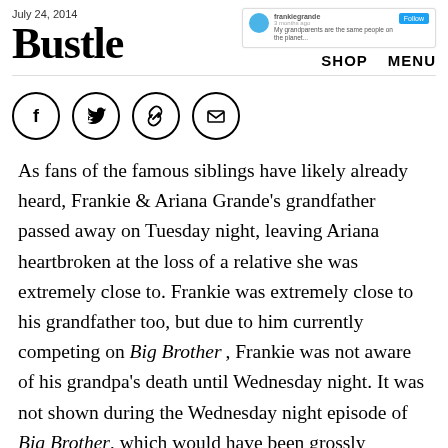July 24, 2014
Bustle
[Figure (screenshot): Twitter/social media post preview widget showing frankiegrande account with follow button]
[Figure (infographic): Social sharing icons: Facebook, Twitter, link/chain, email — all in circles]
As fans of the famous siblings have likely already heard, Frankie & Ariana Grande's grandfather passed away on Tuesday night, leaving Ariana heartbroken at the loss of a relative she was extremely close to. Frankie was extremely close to his grandfather too, but due to him currently competing on Big Brother, Frankie was not aware of his grandpa's death until Wednesday night. It was not shown during the Wednesday night episode of Big Brother, which would have been grossly insensitive, but as seen on the show's livefeed, producers gave Frankie a letter from